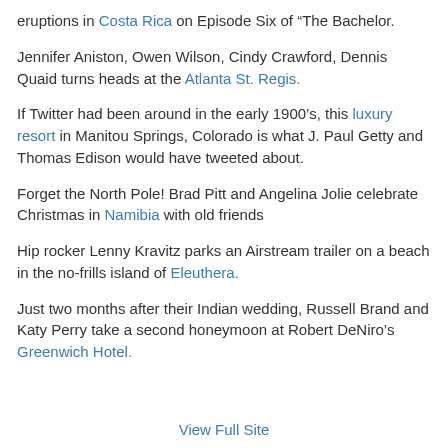eruptions in Costa Rica on Episode Six of “The Bachelor.
Jennifer Aniston, Owen Wilson, Cindy Crawford, Dennis Quaid turns heads at the Atlanta St. Regis.
If Twitter had been around in the early 1900’s, this luxury resort in Manitou Springs, Colorado is what J. Paul Getty and Thomas Edison would have tweeted about.
Forget the North Pole! Brad Pitt and Angelina Jolie celebrate Christmas in Namibia with old friends
Hip rocker Lenny Kravitz parks an Airstream trailer on a beach in the no-frills island of Eleuthera.
Just two months after their Indian wedding, Russell Brand and Katy Perry take a second honeymoon at Robert DeNiro’s Greenwich Hotel.
View Full Site